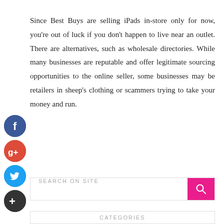Since Best Buys are selling iPads in-store only for now, you're out of luck if you don't happen to live near an outlet. There are alternatives, such as wholesale directories. While many businesses are reputable and offer legitimate sourcing opportunities to the online seller, some businesses may be retailers in sheep's clothing or scammers trying to take your money and run.
[Figure (infographic): Vertical stack of four social media icon buttons: Facebook (blue circle with 'f'), Google+ (red circle with 'g+'), Twitter (light blue circle with bird icon), and a dark circle with '+' sign.]
[Figure (other): Search bar with placeholder text 'SEARCH ON SITE' and a pink search button with magnifying glass icon.]
CATEGORIES